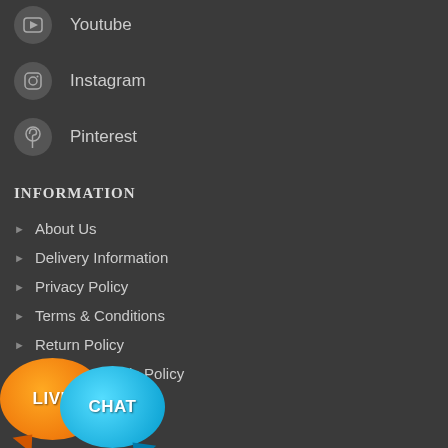Youtube
Instagram
Pinterest
INFORMATION
About Us
Delivery Information
Privacy Policy
Terms & Conditions
Return Policy
Damage Goods Policy
Contact Us
[Figure (illustration): Live Chat button with orange bubble saying LIVE and blue bubble saying CHAT]